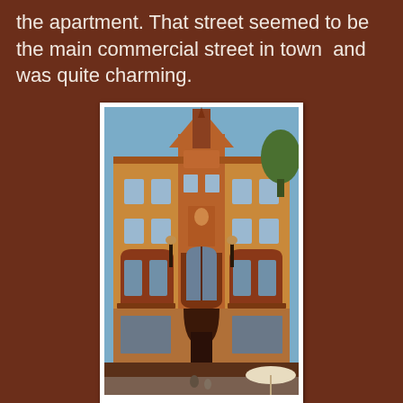the apartment. That street seemed to be the main commercial street in town  and was quite charming.
[Figure (photo): Exterior facade of an ornate Art Nouveau / historicist multi-story building with yellow ochre and terracotta/red decorative elements. The building has elaborate ornamentation, arched windows on the lower floors, decorative balconies, and a central tower-like gabled upper section with a spire. At street level there is a large arched entrance and outdoor café seating with white umbrellas visible at the lower right.]